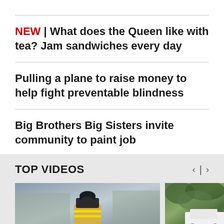NEW | What does the Queen like with tea? Jam sandwiches every day
Pulling a plane to raise money to help fight preventable blindness
Big Brothers Big Sisters invite community to paint job
TOP VIDEOS
[Figure (photo): Video thumbnail of a police officer from behind, wearing a yellow hi-vis jacket and dark hat, in an outdoor winter setting]
[Figure (photo): Video thumbnail partially visible showing green foliage and a white vehicle]